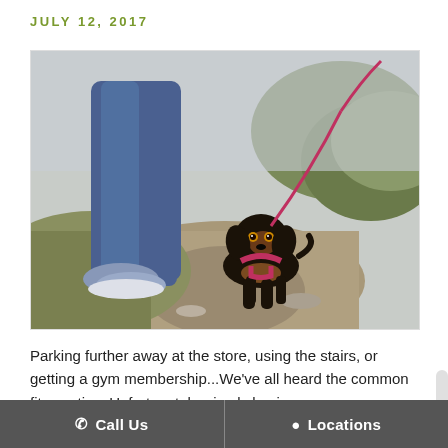JULY 12, 2017
[Figure (photo): A person walking a small black and tan dachshund dog on a red leash along a dirt path with dry grass and shrubs in the background. The person is wearing blue jeans and blue canvas shoes.]
Parking further away at the store, using the stairs, or getting a gym membership...We've all heard the common fitness tips. Unfortunately, simply buying a
📞 Call Us    📍 Locations